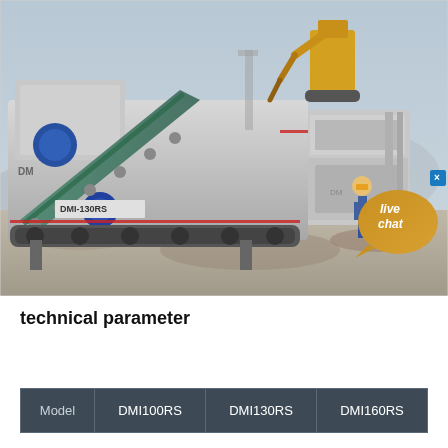[Figure (photo): Industrial mobile impact crusher (DMI-130RS) on a construction/quarry site. The machine is a large grey tracked crusher with blue mechanical components and a diagonal conveyor belt. A worker in blue overalls and yellow hard hat stands to the right. A yellow excavator is visible in the background. A live chat speech bubble overlay appears in the lower right corner.]
technical parameter
| Model | DMI100RS | DMI130RS | DMI160RS |
| --- | --- | --- | --- |